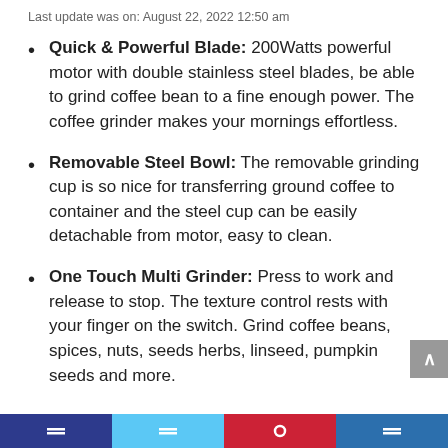Last update was on: August 22, 2022 12:50 am
Quick & Powerful Blade: 200Watts powerful motor with double stainless steel blades, be able to grind coffee bean to a fine enough power. The coffee grinder makes your mornings effortless.
Removable Steel Bowl: The removable grinding cup is so nice for transferring ground coffee to container and the steel cup can be easily detachable from motor, easy to clean.
One Touch Multi Grinder: Press to work and release to stop. The texture control rests with your finger on the switch. Grind coffee beans, spices, nuts, seeds herbs, linseed, pumpkin seeds and more.
Social share bar